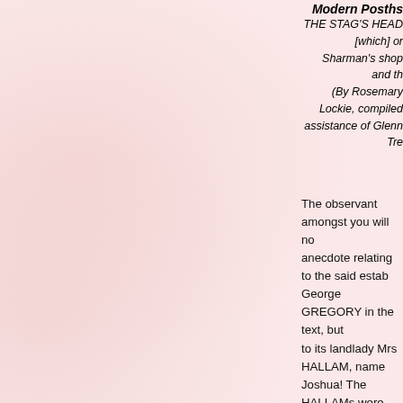Modern Posthoc...
THE STAG'S HEAD [which] or... Sharman's shop and th... (By Rosemary Lockie, compiled... assistance of Glenn Tre...
The observant amongst you will no... anecdote relating to the said estab... George GREGORY in the text, but... to its landlady Mrs HALLAM, name... Joshua! The HALLAMs were indee... landlords of The Stag, but its first d... (recorded in Pigot's Directory of 18... Mary TOWNSEND. She inherited t... her second husband Joshua when... Mary (née SKIDMORE) had been... a John HALLAM, who died in 1779... in 1831, the Inn is believed to have... grandson, another John HALLAM,... his sons, Frederick Stockdale and... not until Peter John's death in 191... establishment had (officially) anoth... charge - Peter John's widow, Mary... HANCOCK, née GODDARD.
At the time of Cowen's publication... HALLAM would have been the lice... likely, to qualify as an ancestor (an...